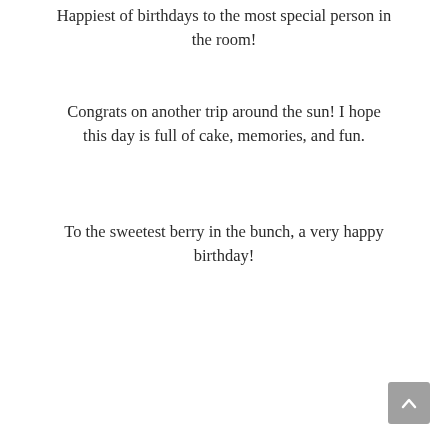Happiest of birthdays to the most special person in the room!
Congrats on another trip around the sun! I hope this day is full of cake, memories, and fun.
To the sweetest berry in the bunch, a very happy birthday!